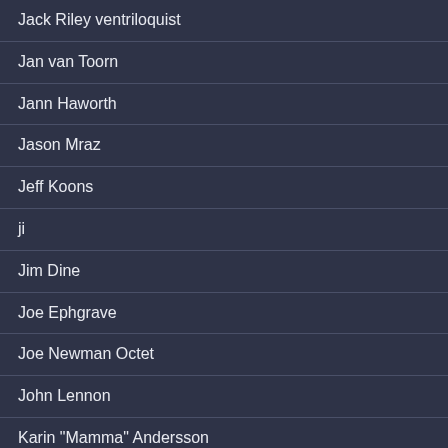Jack Riley ventriloquist
Jan van Toorn
Jann Haworth
Jason Mraz
Jeff Koons
ji
Jim Dine
Joe Ephgrave
Joe Newman Octet
John Lennon
Karin "Mamma" Andersson
Kate Moss Covers